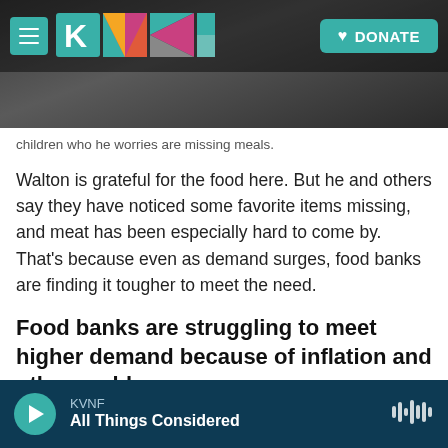[Figure (screenshot): KVNF website navigation bar with hamburger menu icon, KVNF colorful logo, and teal DONATE button with heart icon, overlaid on a dark rocky background hero image]
children who he worries are missing meals.
Walton is grateful for the food here. But he and others say they have noticed some favorite items missing, and meat has been especially hard to come by. That's because even as demand surges, food banks are finding it tougher to meet the need.
Food banks are struggling to meet higher demand because of inflation and other problems
At the Foodbank of Southeastern Virginia and the
[Figure (screenshot): Audio player bar at bottom showing KVNF, All Things Considered with teal play button and audio waveform icon on dark navy background]